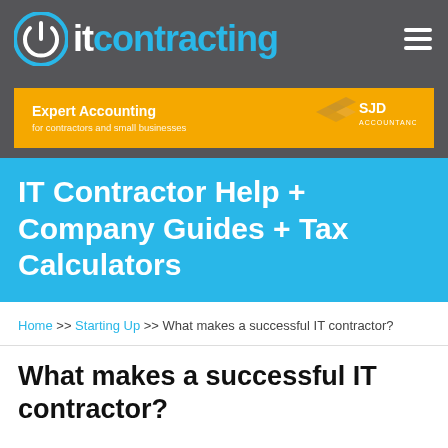IT Contracting
[Figure (logo): IT Contracting logo with power button icon and blue text]
[Figure (infographic): SJD Accountancy banner ad — Expert Accounting for contractors and small businesses]
IT Contractor Help + Company Guides + Tax Calculators
Home >> Starting Up >> What makes a successful IT contractor?
What makes a successful IT contractor?